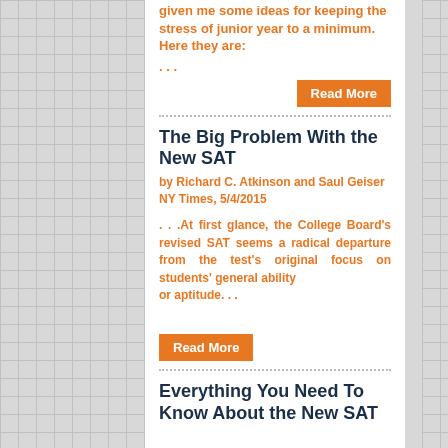given me some ideas for keeping the stress of junior year to a minimum. Here they are:
. . .
Read More
The Big Problem With the New SAT
by Richard C. Atkinson and Saul Geiser
NY Times, 5/4/2015
. . .At first glance, the College Board's revised SAT seems a radical departure from the test's original focus on students' general ability
or aptitude. . .
Read More
Everything You Need To Know About the New SAT